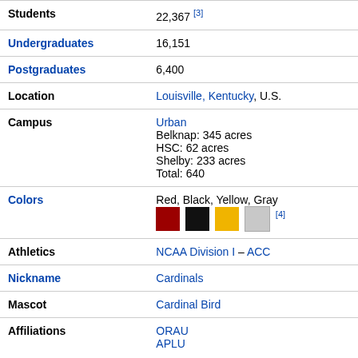| Field | Value |
| --- | --- |
| Students | 22,367 [3] |
| Undergraduates | 16,151 |
| Postgraduates | 6,400 |
| Location | Louisville, Kentucky, U.S. |
| Campus | Urban
Belknap: 345 acres
HSC: 62 acres
Shelby: 233 acres
Total: 640 |
| Colors | Red, Black, Yellow, Gray [4] |
| Athletics | NCAA Division I – ACC |
| Nickname | Cardinals |
| Mascot | Cardinal Bird |
| Affiliations | ORAU
APLU |